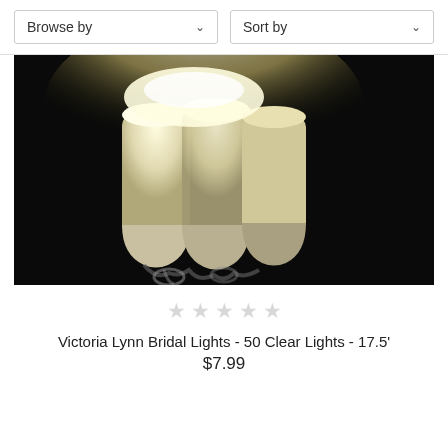Browse by
Sort by
[Figure (photo): Close-up photo of glowing white string light bulbs against a dark background, showing three cylindrical white bulbs lit from above with warm yellow-white light.]
★★★★★ (empty stars)
Victoria Lynn Bridal Lights - 50 Clear Lights - 17.5'
$7.99